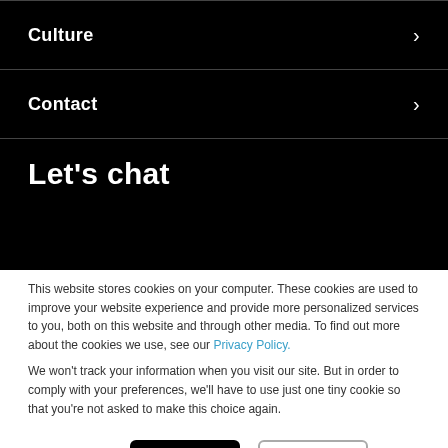Culture
Contact
Let's chat
This website stores cookies on your computer. These cookies are used to improve your website experience and provide more personalized services to you, both on this website and through other media. To find out more about the cookies we use, see our Privacy Policy.
We won't track your information when you visit our site. But in order to comply with your preferences, we'll have to use just one tiny cookie so that you're not asked to make this choice again.